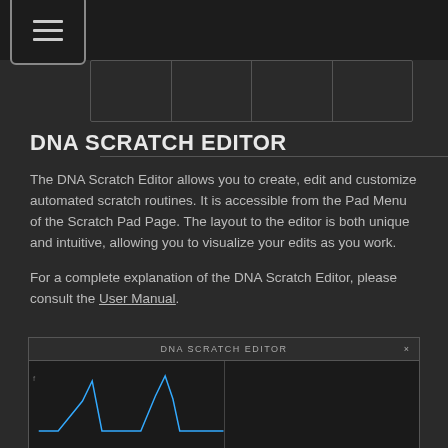[Figure (screenshot): Top navigation bar with hamburger menu icon (three horizontal lines in a rounded rectangle) on dark background, and a partially visible tab strip below]
DNA SCRATCH EDITOR
The DNA Scratch Editor allows you to create, edit and customize automated scratch routines. It is accessible from the Pad Menu of the Scratch Pad Page. The layout to the editor is both unique and intuitive, allowing you to visualize your edits as you work.
For a complete explanation of the DNA Scratch Editor, please consult the User Manual.
[Figure (screenshot): Screenshot of the DNA Scratch Editor interface showing a dark window with title bar labeled 'DNA SCRATCH EDITOR' and a waveform/graph display area with blue waveform peaks visible]